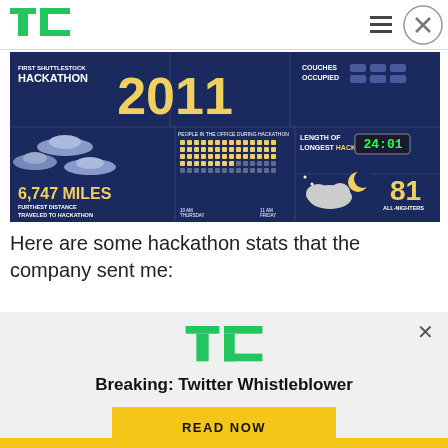TechCrunch
[Figure (infographic): Shuttlestock Hackathon 2011 infographic showing: First Shuttlestock Hackathon 2011, Couches Occupied, 6,747 Miles Furthest Distance Traveled to Hackathon, People in the office during hackathon (grid), Length of Longest Hack 24:01, 81 All-Nighters]
Here are some hackathon stats that the company sent me:
[Figure (logo): TechCrunch TC logo (large, green) in advertisement overlay]
Breaking: Twitter Whistleblower
READ NOW